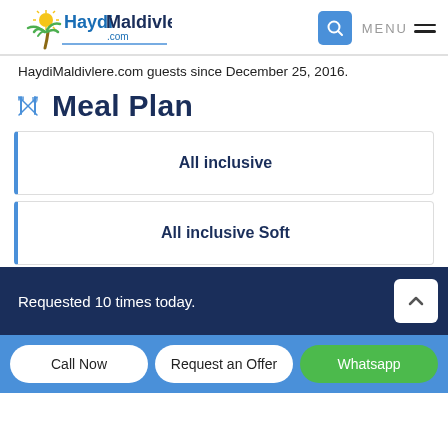[Figure (logo): HaydiMaldivlere.com website logo with palm tree and sun icon, blue text]
HaydiMaldivlere.com guests since December 25, 2016.
Meal Plan
All inclusive
All inclusive Soft
Requested 10 times today.
Call Now
Request an Offer
Whatsapp